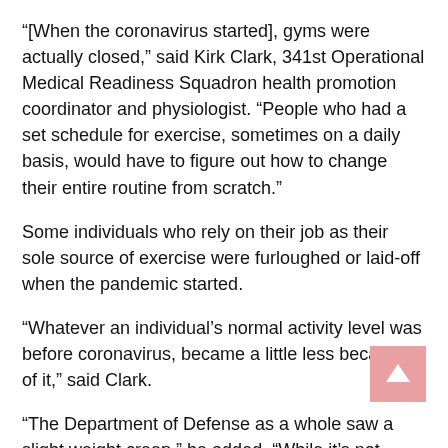“[When the coronavirus started], gyms were actually closed,” said Kirk Clark, 341st Operational Medical Readiness Squadron health promotion coordinator and physiologist. “People who had a set schedule for exercise, sometimes on a daily basis, would have to figure out how to change their entire routine from scratch.”
Some individuals who rely on their job as their sole source of exercise were furloughed or laid-off when the pandemic started.
“Whatever an individual’s normal activity level was before coronavirus, became a little less because of it,” said Clark.
“The Department of Defense as a whole saw a slight weight creep,” he added. “While it’s not overly dramatic, since it’s only over a 12-month timespan, its still significant enough to be concerning.”
Extra weight equals extra risk